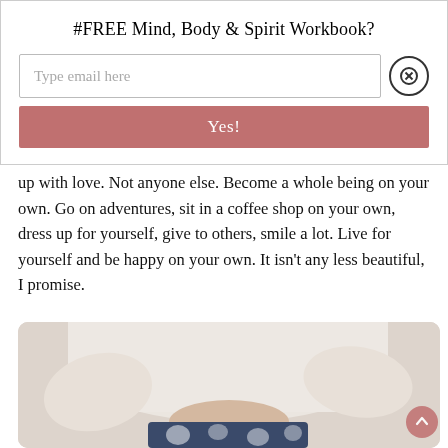#FREE Mind, Body & Spirit Workbook?
Type email here
Yes!
up with love. Not anyone else. Become a whole being on your own. Go on adventures, sit in a coffee shop on your own, dress up for yourself, give to others, smile a lot. Live for yourself and be happy on your own. It isn't any less beautiful, I promise.
[Figure (photo): A person in a white long-sleeve sweater holding something, with a floral-patterned item visible at the bottom of the frame.]